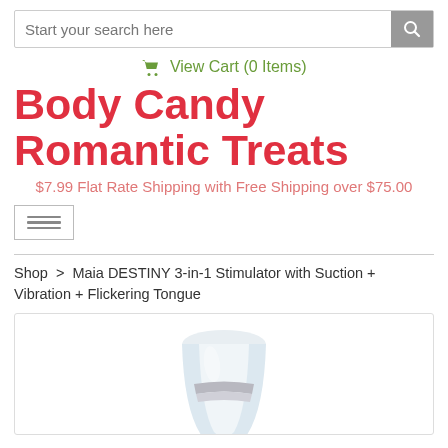Start your search here
View Cart (0 Items)
Body Candy Romantic Treats
$7.99 Flat Rate Shipping with Free Shipping over $75.00
Shop > Maia DESTINY 3-in-1 Stimulator with Suction + Vibration + Flickering Tongue
[Figure (photo): Product photo of a white and silver device (Maia DESTINY 3-in-1 Stimulator) partially visible at the bottom of the page]